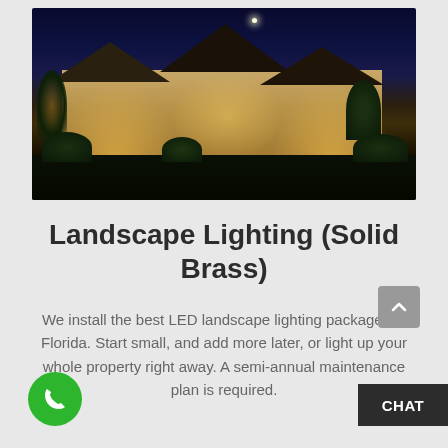[Figure (photo): Nighttime photo of a large stone house with landscape lighting illuminating the facade, shrubs, and trees. A moon is visible in the dark blue sky.]
Landscape Lighting (Solid Brass)
We install the best LED landscape lighting packages in Florida. Start small, and add more later, or light up your whole property right away. A semi-annual maintenance plan is required.